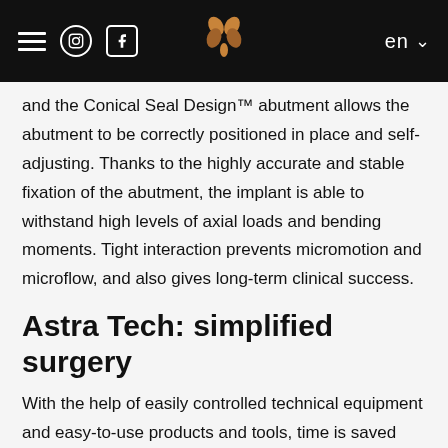Navigation bar with hamburger menu, Instagram icon, Facebook icon, logo, language selector (en)
and the Conical Seal Design™ abutment allows the abutment to be correctly positioned in place and self-adjusting. Thanks to the highly accurate and stable fixation of the abutment, the implant is able to withstand high levels of axial loads and bending moments. Tight interaction prevents micromotion and microflow, and also gives long-term clinical success.
Astra Tech: simplified surgery
With the help of easily controlled technical equipment and easy-to-use products and tools, time is saved during the operation in favor of the patient's comfort.